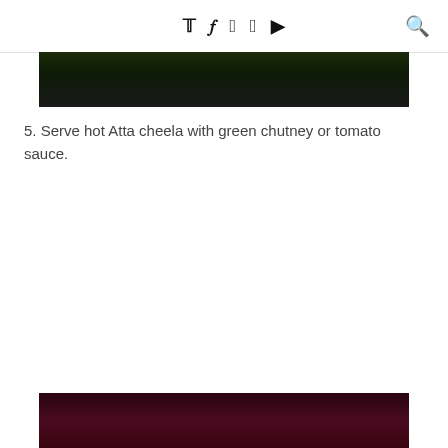Twitter Facebook Pinterest Instagram YouTube [Search]
[Figure (photo): Dark food photograph at top of page, partially cropped]
5. Serve hot Atta cheela with green chutney or tomato sauce.
[Figure (photo): Food photograph at bottom of page, partially cropped, dark maroon/burgundy background]